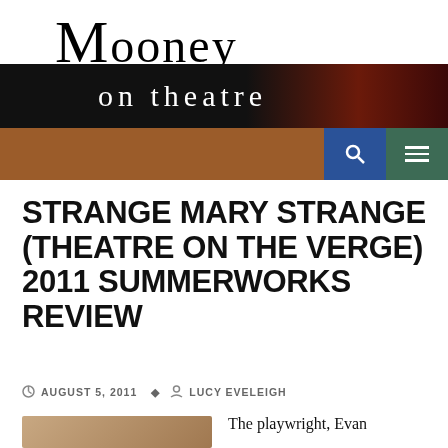Mooney on theatre
STRANGE MARY STRANGE (THEATRE ON THE VERGE) 2011 SUMMERWORKS REVIEW
AUGUST 5, 2011   LUCY EVELEIGH
The playwright, Evan